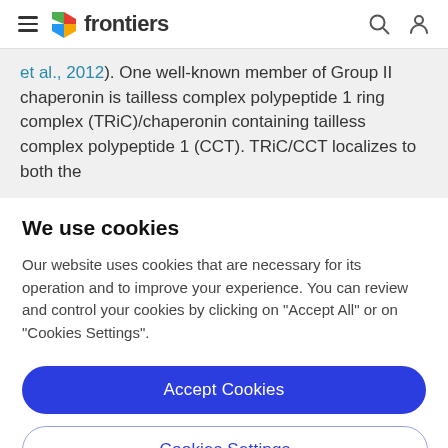frontiers
et al., 2012). One well-known member of Group II chaperonin is tailless complex polypeptide 1 ring complex (TRiC)/chaperonin containing tailless complex polypeptide 1 (CCT). TRiC/CCT localizes to both the
We use cookies
Our website uses cookies that are necessary for its operation and to improve your experience. You can review and control your cookies by clicking on "Accept All" or on "Cookies Settings".
Accept Cookies
Cookies Settings